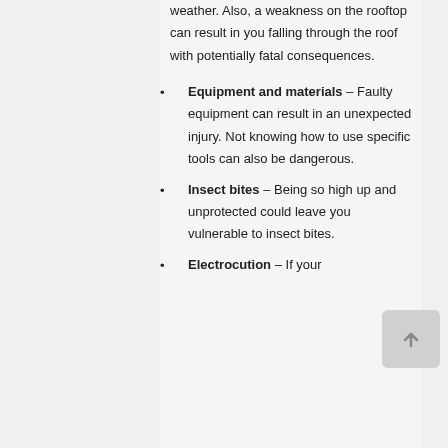weather. Also, a weakness on the rooftop can result in you falling through the roof with potentially fatal consequences.
Equipment and materials – Faulty equipment can result in an unexpected injury. Not knowing how to use specific tools can also be dangerous.
Insect bites – Being so high up and unprotected could leave you vulnerable to insect bites.
Electrocution – If your